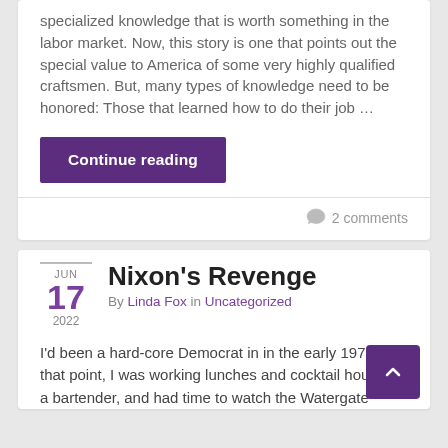specialized knowledge that is worth something in the labor market. Now, this story is one that points out the special value to America of some very highly qualified craftsmen. But, many types of knowledge need to be honored: Those that learned how to do their job …
Continue reading
2 comments
Nixon's Revenge
By Linda Fox in Uncategorized
I'd been a hard-core Democrat in in the early 1970's. At that point, I was working lunches and cocktail hours as a bartender, and had time to watch the Watergate hearings, during our quiet mid-afternoon hours.